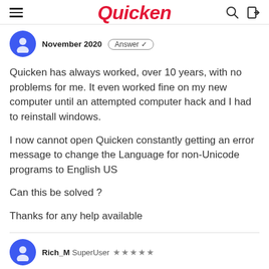Quicken
November 2020  Answer ✓
Quicken has always worked, over 10 years, with no problems for me. It even worked fine on my new computer until an attempted computer hack and I had to reinstall windows.
I now cannot open Quicken constantly getting an error message to change the Language for non-Unicode programs to English US
Can this be solved ?
Thanks for any help available
Rich_M  SuperUser  ★★★★★